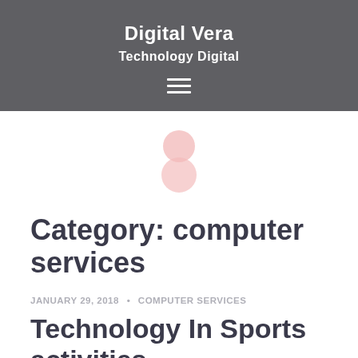Digital Vera
Technology Digital
[Figure (logo): Two overlapping pink/salmon circles arranged vertically like a figure-8 or snowman icon]
Category: computer services
JANUARY 29, 2018 · COMPUTER SERVICES
Technology In Sports activities